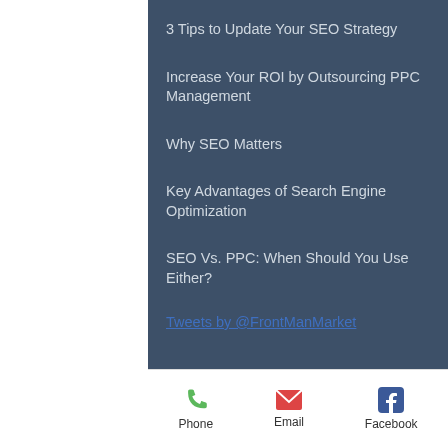3 Tips to Update Your SEO Strategy
Increase Your ROI by Outsourcing PPC Management
Why SEO Matters
Key Advantages of Search Engine Optimization
SEO Vs. PPC: When Should You Use Either?
Tweets by @FrontManMarket
Phone  Email  Facebook